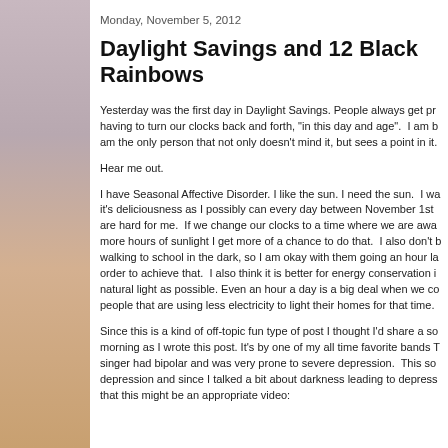Monday, November 5, 2012
Daylight Savings and 12 Black Rainbows
Yesterday was the first day in Daylight Savings. People always get pr having to turn our clocks back and forth, "in this day and age". I am b am the only person that not only doesn't mind it, but sees a point in it.
Hear me out.
I have Seasonal Affective Disorder. I like the sun. I need the sun. I wa it's deliciousness as I possibly can every day between November 1st are hard for me. If we change our clocks to a time where we are awa more hours of sunlight I get more of a chance to do that. I also don't b walking to school in the dark, so I am okay with them going an hour la order to achieve that. I also think it is better for energy conservation i natural light as possible. Even an hour a day is a big deal when we co people that are using less electricity to light their homes for that time.
Since this is a kind of off-topic fun type of post I thought I'd share a so morning as I wrote this post. It's by one of my all time favorite bands T singer had bipolar and was very prone to severe depression. This so depression and since I talked a bit about darkness leading to depress that this might be an appropriate video: